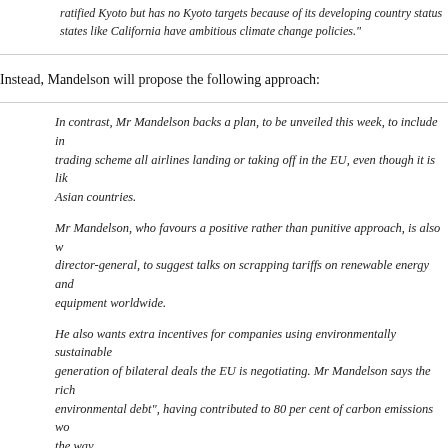ratified Kyoto but has no Kyoto targets because of its developing country status... states like California have ambitious climate change policies."
Instead, Mandelson will propose the following approach:
In contrast, Mr Mandelson backs a plan, to be unveiled this week, to include in trading scheme all airlines landing or taking off in the EU, even though it is likely Asian countries.
Mr Mandelson, who favours a positive rather than punitive approach, is also w director-general, to suggest talks on scrapping tariffs on renewable energy and equipment worldwide.
He also wants extra incentives for companies using environmentally sustainable generation of bilateral deals the EU is negotiating. Mr Mandelson says the rich environmental debt", having contributed to 80 per cent of carbon emissions wo the way.
The Stiglitz suggestion would have made for an interesting case, but it is probably bes